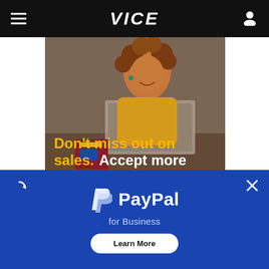VICE
[Figure (screenshot): Advertisement banner showing a woman in a yellow sweater at a laptop, with text 'Don't miss out on sales. Accept more payment types.' and a 'Learn More' button with PayPal logo]
[Figure (infographic): PayPal for Business blue overlay ad with PayPal logo, text 'PayPal for Business', and a 'Learn More' button]